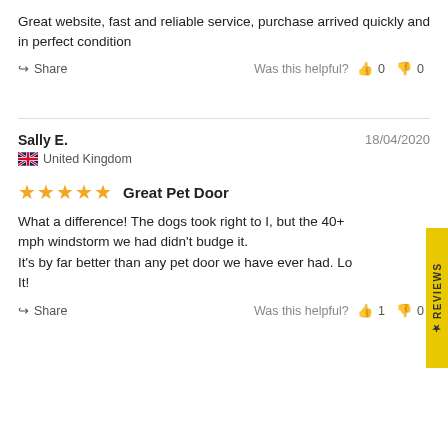Great website, fast and reliable service, purchase arrived quickly and in perfect condition
Share   Was this helpful?  👍 0  👎 0
Sally E.   18/04/2020
🇬🇧 United Kingdom
★★★★★  Great Pet Door
What a difference! The dogs took right to I, but the 40+ mph windstorm we had didn't budge it.
It's by far better than any pet door we have ever had. Lo
It!
Share   Was this helpful?  👍 1  👎 0